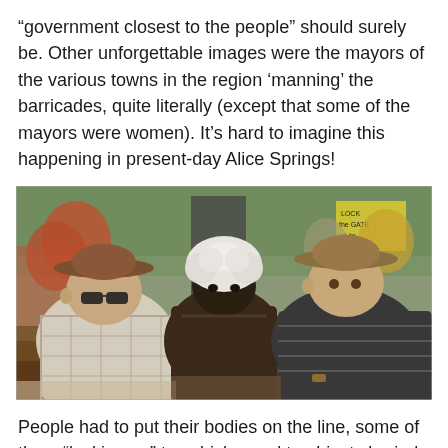“government closest to the people” should surely be. Other unforgettable images were the mayors of the various towns in the region ‘manning’ the barricades, quite literally (except that some of the mayors were women). It’s hard to imagine this happening in present-day Alice Springs!
[Figure (photo): Three men sitting side by side outdoors at what appears to be a protest or demonstration. Left: an older white man wearing a brown wide-brim hat and sunglasses, plaid shirt. Centre: an Aboriginal man with white curly hair, shirtless. Right: an older white man wearing a wide-brim hat and dark striped polo shirt. A crowd and signs are visible in the background, including a yellow sign reading 'LOCK the GATE'.]
People had to put their bodies on the line, some of them “locking on” to vehicles and to objects buried in the earth, in